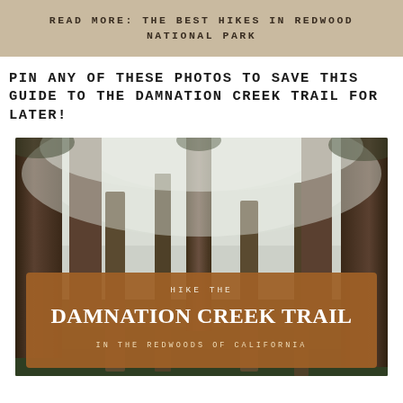READ MORE: THE BEST HIKES IN REDWOOD NATIONAL PARK
PIN ANY OF THESE PHOTOS TO SAVE THIS GUIDE TO THE DAMNATION CREEK TRAIL FOR LATER!
[Figure (photo): Misty redwood forest with tall trees reaching upward through fog, overlaid with a brown banner reading 'HIKE THE DAMNATION CREEK TRAIL IN THE REDWOODS OF CALIFORNIA']